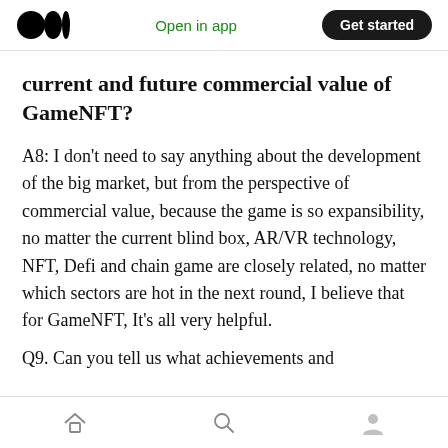Open in app | Get started
current and future commercial value of GameNFT?
A8: I don't need to say anything about the development of the big market, but from the perspective of commercial value, because the game is so expansibility, no matter the current blind box, AR/VR technology, NFT, Defi and chain game are closely related, no matter which sectors are hot in the next round, I believe that for GameNFT, It's all very helpful.
Q9. Can you tell us what achievements and
Home | Search | Profile